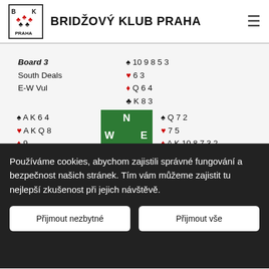BRIDŽOVÝ KLUB PRAHA
[Figure (other): Bridge card deal diagram showing Board 3, South Deals, E-W Vul with North/South/East/West hands and a compass rose in green]
Používáme cookies, abychom zajistili správné fungování a bezpečnost našich stránek. Tím vám můžeme zajistit tu nejlepší zkušenost při jejich návštěvě.
Přijmout nezbytné   Přijmout vše